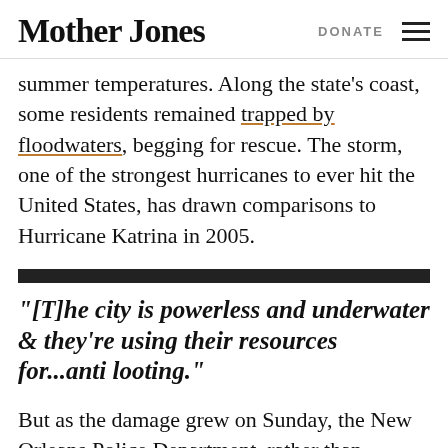Mother Jones | DONATE
summer temperatures. Along the state’s coast, some residents remained trapped by floodwaters, begging for rescue. The storm, one of the strongest hurricanes to ever hit the United States, has drawn comparisons to Hurricane Katrina in 2005.
“[T]he city is powerless and underwater & they’re using their resources for…anti looting.”
But as the damage grew on Sunday, the New Orleans Police Department, rather than diverting all its resources to deliver food and water to vulnerable residents, announced another priority: